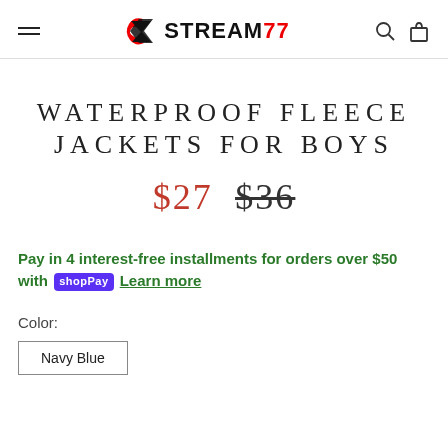STREAM77 — navigation header with hamburger menu, logo, search and cart icons
WATERPROOF FLEECE JACKETS FOR BOYS
$27   $36 (strikethrough)
Pay in 4 interest-free installments for orders over $50 with shopPay Learn more
Color:
Navy Blue